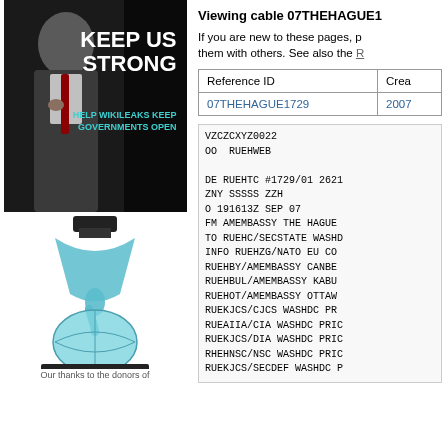[Figure (illustration): WikiLeaks advertisement banner showing a man in dark suit with text KEEP US STRONG and HELP WIKILEAKS KEEP GOVERNMENTS OPEN in teal]
[Figure (logo): WikiLeaks logo showing globe with hourglass drip design and WikiLeaks text]
Our thanks to the donors of
Viewing cable 07THEHAGUE1
If you are new to these pages, p them with others. See also the R
| Reference ID | Crea |
| --- | --- |
| 07THEHAGUE1729 | 2007 |
VZCZCXYZ0022
OO RUEHWEB

DE RUEHTC #1729/01 2621
ZNY SSSSS ZZH
O 191613Z SEP 07
FM AMEMBASSY THE HAGUE
TO RUEHC/SECSTATE WASHD
INFO RUEHZG/NATO EU CO
RUEHBY/AMEMBASSY CANBE
RUEHBUL/AMEMBASSY KABU
RUEHOT/AMEMBASSY OTTAW
RUEKJCS/CJCS WASHDC PR
RUEAIIA/CIA WASHDC PRIC
RUEKJCS/DIA WASHDC PRIC
RHEHNSC/NSC WASHDC PRIC
RUEKJCS/SECDEF WASHDC P